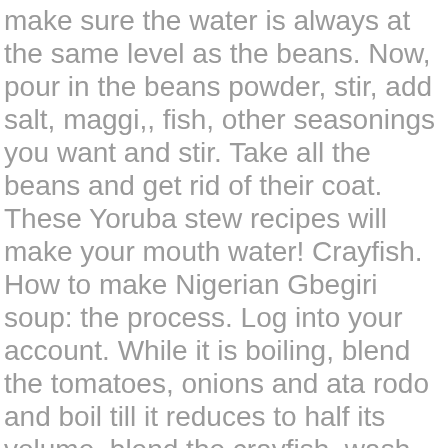make sure the water is always at the same level as the beans. Now, pour in the beans powder, stir, add salt, maggi,, fish, other seasonings you want and stir. Take all the beans and get rid of their coat. These Yoruba stew recipes will make your mouth water! Crayfish. How to make Nigerian Gbegiri soup: the process. Log into your account. While it is boiling, blend the tomatoes, onions and ata rodo and boil till it reduces to half its volume, blend the crayfish, wash the smoked fish and tear into pieces and set them all aside 2. You can decide to serve with ewedu, stew and eat with amala, fufu, tuwo shikafa or eba, whatever your choice maybe. Yesterday was hubby's birthday and he had to travel on a business trip. Check out the ingredients and the recipe and get down to cooking! Gbegiri soup Nigerian Ila Elegusi Asepo : Tasty Recipe To Enjoy . 1 cup of Brown Beans (Honey Beans) A tablespoon of Crayfish Powder. Ensure you have some Beef & Chicken Stew because the beef for the Gbegiri Soup comes from this stew. Leave all to cook for 10-12 minutes, taste it, if too hot or tasting raw